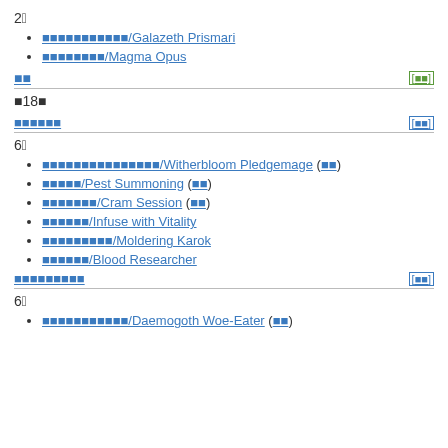2️⃣
███████████/Galazeth Prismari
████████/Magma Opus
██
█18█
████████
6️⃣
█████████████████/Witherbloom Pledgemage (██)
█████/Pest Summoning (██)
███████/Cram Session (██)
██████/Infuse with Vitality
█████████/Moldering Karok
██████/Blood Researcher
█████████
6️⃣
███████████/Daemogoth Woe-Eater (██)